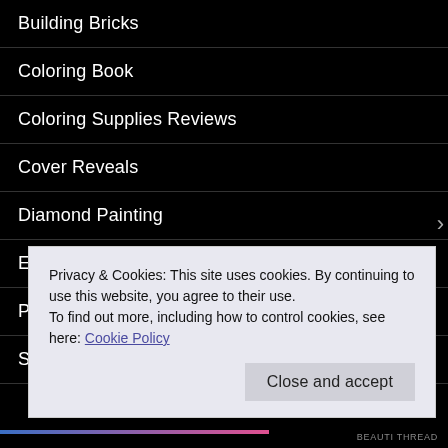Building Bricks
Coloring Book
Coloring Supplies Reviews
Cover Reveals
Diamond Painting
Energy Drinks
Puzzle Review
SC Post
Privacy & Cookies: This site uses cookies. By continuing to use this website, you agree to their use.
To find out more, including how to control cookies, see here: Cookie Policy
Close and accept